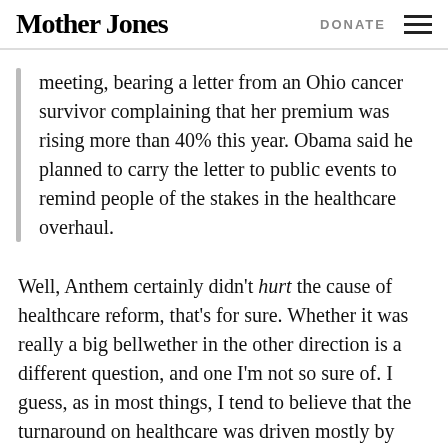Mother Jones | DONATE
meeting, bearing a letter from an Ohio cancer survivor complaining that her premium was rising more than 40% this year. Obama said he planned to carry the letter to public events to remind people of the stakes in the healthcare overhaul.
Well, Anthem certainly didn't hurt the cause of healthcare reform, that's for sure. Whether it was really a big bellwether in the other direction is a different question, and one I'm not so sure of. I guess, as in most things, I tend to believe that the turnaround on healthcare was driven mostly by